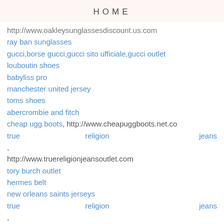HOME
http://www.oakleysunglassesdiscount.us.com
ray ban sunglasses
gucci,borse gucci,gucci sito ufficiale,gucci outlet
louboutin shoes
babyliss pro
manchester united jersey
toms shoes
abercrombie and fitch
cheap ugg boots, http://www.cheapuggboots.net.co
true religion jeans, http://www.truereligionjeansoutlet.com
tory burch outlet
hermes belt
new orleans saints jerseys
true religion jeans, http://www.truereligionoutletstore.us.com
giuseppe zanotti outlet
cheap nfl jerseys, http://www.cheap-nfljersey.us.com/
san francisco 49ers jerseys
ralph lauren,polo ralph lauren,ralph lauren outlet,ralph